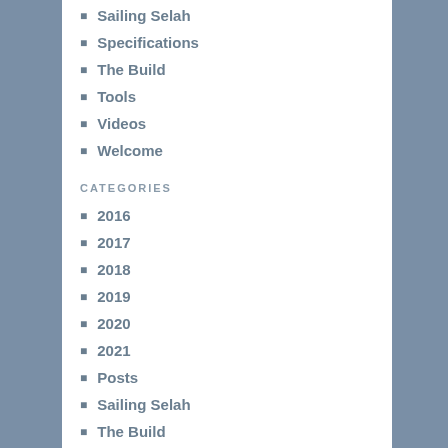Sailing Selah
Specifications
The Build
Tools
Videos
Welcome
CATEGORIES
2016
2017
2018
2019
2020
2021
Posts
Sailing Selah
The Build
FOLLOW BLOG VIA EMAIL
Enter your email address to follow this blog and receive notifications of new posts by email.